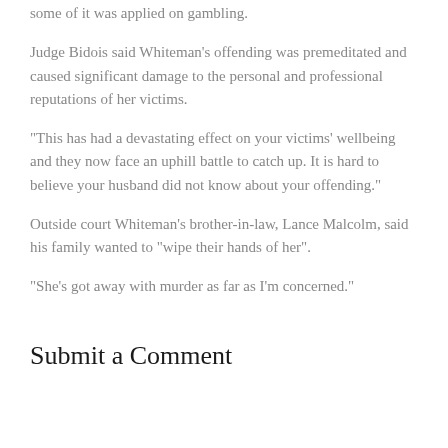some of it was applied on gambling.
Judge Bidois said Whiteman’s offending was premeditated and caused significant damage to the personal and professional reputations of her victims.
“This has had a devastating effect on your victims’ wellbeing and they now face an uphill battle to catch up. It is hard to believe your husband did not know about your offending.”
Outside court Whiteman’s brother-in-law, Lance Malcolm, said his family wanted to “wipe their hands of her”.
“She’s got away with murder as far as I’m concerned.”
Submit a Comment